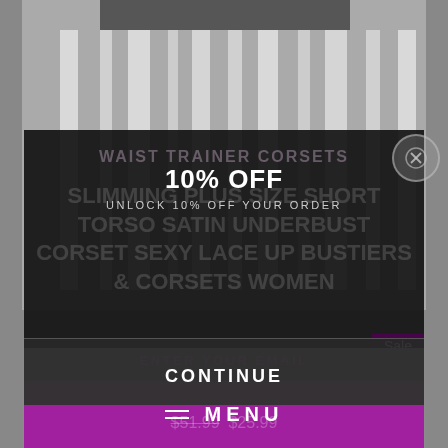[Figure (screenshot): E-commerce product page showing a striped corset/bustier garment with a dark overlay popup modal offering 10% off email signup, a continue button, a sale badge, and a purple menu bar at the bottom.]
10% OFF
UNLOCK 10% OFF YOUR ORDER
WAIST TRAINER CORSETS
SLIMMING PLUS SIZE SHORT TORSO SATIN UNDERBUST CORSET SEXY LACE UP BUSTIERS & CORSETS WOMEN
ENTER YOUR EMAIL
CONTINUE
$51.99  $25.99
Sale
MENU